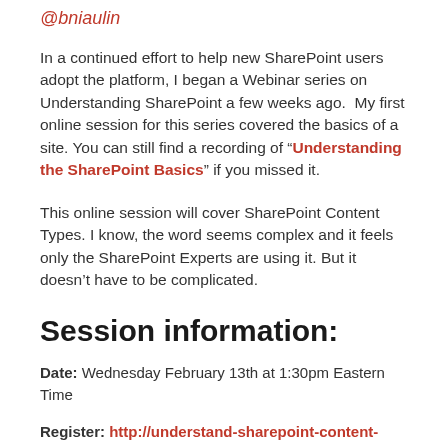@bniaulin
In a continued effort to help new SharePoint users adopt the platform, I began a Webinar series on Understanding SharePoint a few weeks ago.  My first online session for this series covered the basics of a site. You can still find a recording of “Understanding the SharePoint Basics” if you missed it.
This online session will cover SharePoint Content Types. I know, the word seems complex and it feels only the SharePoint Experts are using it. But it doesn’t have to be complicated.
Session information:
Date: Wednesday February 13th at 1:30pm Eastern Time
Register: http://understand-sharepoint-content-